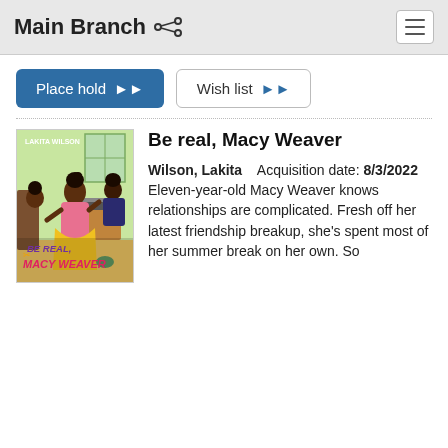Main Branch
Place hold    Wish list
[Figure (illustration): Book cover for 'Be Real, Macy Weaver' by Lakita Wilson. Illustrated cover showing a girl with a yellow skirt, sewing machine, and other children. Title text in purple and pink at the bottom.]
Be real, Macy Weaver
Wilson, Lakita    Acquisition date: 8/3/2022
Eleven-year-old Macy Weaver knows relationships are complicated. Fresh off her latest friendship breakup, she's spent most of her summer break on her own. So